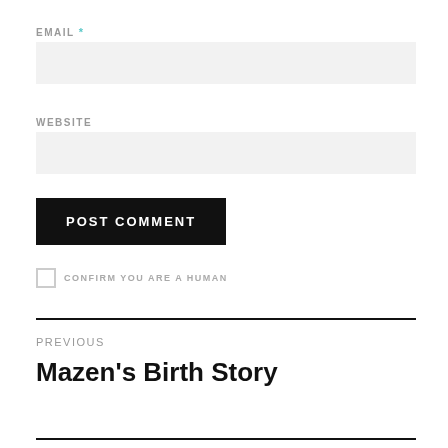EMAIL *
[Figure (other): Email input text field (empty, light gray background)]
WEBSITE
[Figure (other): Website input text field (empty, light gray background)]
POST COMMENT
CONFIRM YOU ARE A HUMAN
Previous
Mazen's Birth Story